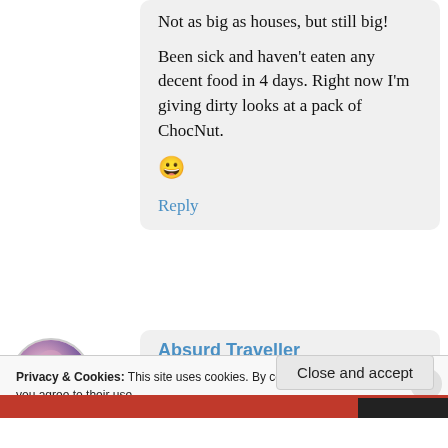Not as big as houses, but still big!

Been sick and haven't eaten any decent food in 4 days. Right now I'm giving dirty looks at a pack of ChocNut. 😀
Reply
[Figure (photo): Circular avatar photo of a person, partially visible]
Absurd Traveller
Privacy & Cookies: This site uses cookies. By continuing to use this website, you agree to their use.
To find out more, including how to control cookies, see here: Cookie Policy
Close and accept